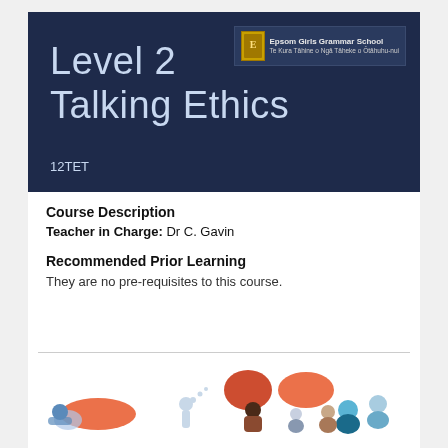Level 2 Talking Ethics
12TET
[Figure (logo): Epsom Girls Grammar School logo with emblem and text]
Course Description
Teacher in Charge: Dr C. Gavin
Recommended Prior Learning
They are no pre-requisites to this course.
[Figure (illustration): Decorative illustration of cartoon people with speech bubbles in orange, blue, and red tones]